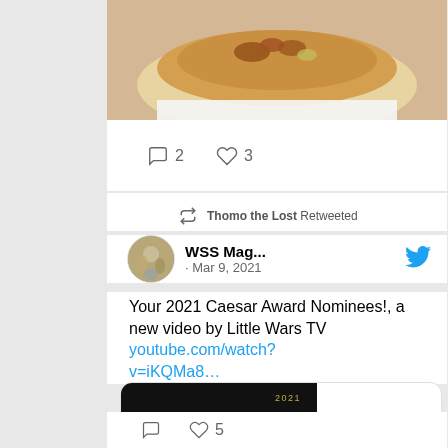[Figure (photo): Food image at top - appears to be a burger or sandwich on a plate, cropped showing bottom portion]
2   3
Thomo the Lost Retweeted
WSS Mag... · Mar 9, 2021
Your 2021 Caesar Award Nominees!, a new video by Little Wars TV youtube.com/watch?v=iKQMa8...
[Figure (screenshot): YouTube video preview card showing '2021 Caesar Awards' video thumbnail with play button, site label 'youtube....' and title 'Your 2021 Caesar ...']
5